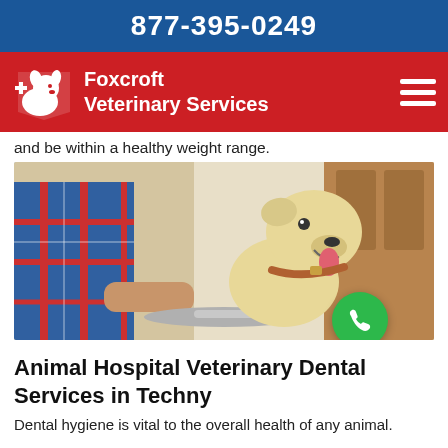877-395-0249
[Figure (logo): Foxcroft Veterinary Services logo with dog/cat icon and plus sign on red background with hamburger menu icon]
and be within a healthy weight range.
[Figure (photo): A yellow Labrador dog with mouth open and tongue out, wearing a brown collar, being weighed on a scale by a person in a plaid shirt. Green phone call button overlay in bottom right.]
Animal Hospital Veterinary Dental Services in Techny
Dental hygiene is vital to the overall health of any animal.